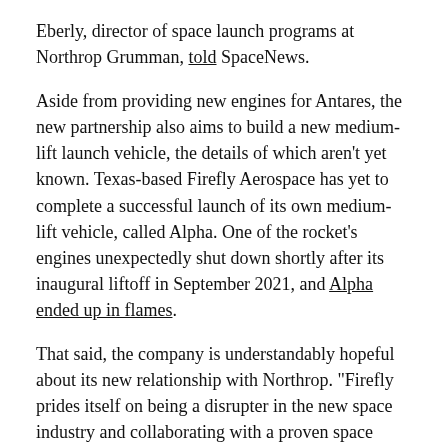Eberly, director of space launch programs at Northrop Grumman, told SpaceNews.
Aside from providing new engines for Antares, the new partnership also aims to build a new medium-lift launch vehicle, the details of which aren't yet known. Texas-based Firefly Aerospace has yet to complete a successful launch of its own medium-lift vehicle, called Alpha. One of the rocket's engines unexpectedly shut down shortly after its inaugural liftoff in September 2021, and Alpha ended up in flames.
That said, the company is understandably hopeful about its new relationship with Northrop. "Firefly prides itself on being a disrupter in the new space industry and collaborating with a proven space pioneer like Northrop Grumman will help us continue that disruption," Peter Schumacher, interim CEO for Firefly, said in a statement.